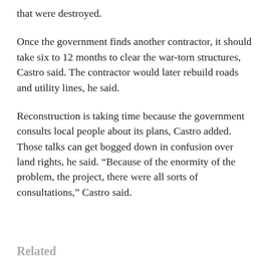that were destroyed.
Once the government finds another contractor, it should take six to 12 months to clear the war-torn structures, Castro said. The contractor would later rebuild roads and utility lines, he said.
Reconstruction is taking time because the government consults local people about its plans, Castro added. Those talks can get bogged down in confusion over land rights, he said. “Because of the enormity of the problem, the project, there were all sorts of consultations,” Castro said.
Related